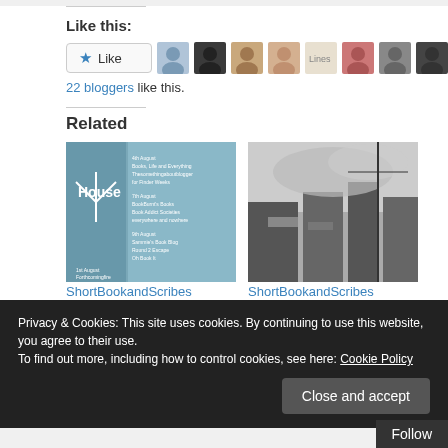Like this:
[Figure (screenshot): Like button and 10 blogger avatar thumbnails]
22 bloggers like this.
Related
[Figure (photo): Book cover thumbnail for ShortBookandScribes #BookReview – The Clockmaker's House]
ShortBookandScribes #BookReview – The
[Figure (photo): Black and white historical photo for ShortBookandScribes #Giveaway of a Paperback]
ShortBookandScribes #Giveaway of a Paperback
Privacy & Cookies: This site uses cookies. By continuing to use this website, you agree to their use.
To find out more, including how to control cookies, see here: Cookie Policy
Close and accept
Follow